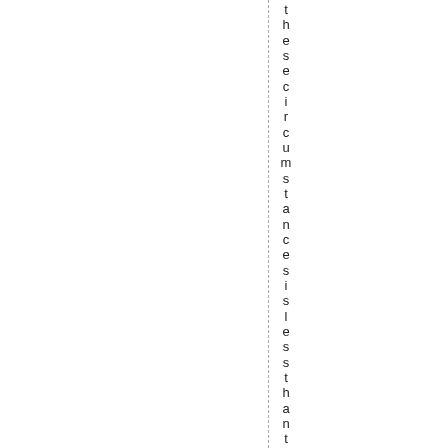the circumstances is less than th